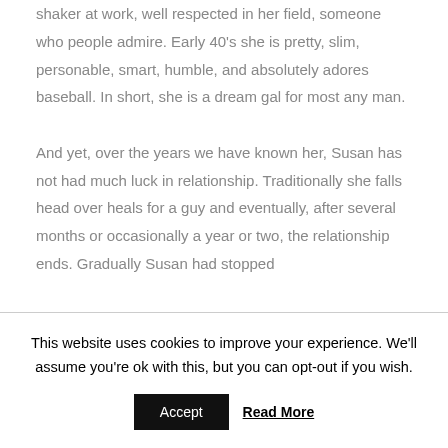shaker at work, well respected in her field, someone who people admire. Early 40's she is pretty, slim, personable, smart, humble, and absolutely adores baseball. In short, she is a dream gal for most any man.

And yet, over the years we have known her, Susan has not had much luck in relationship. Traditionally she falls head over heals for a guy and eventually, after several months or occasionally a year or two, the relationship ends. Gradually Susan had stopped
This website uses cookies to improve your experience. We'll assume you're ok with this, but you can opt-out if you wish.
Accept  Read More